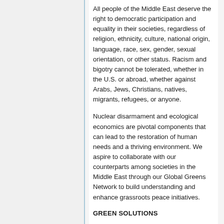All people of the Middle East deserve the right to democratic participation and equality in their societies, regardless of religion, ethnicity, culture, national origin, language, race, sex, gender, sexual orientation, or other status. Racism and bigotry cannot be tolerated, whether in the U.S. or abroad, whether against Arabs, Jews, Christians, natives, migrants, refugees, or anyone.
Nuclear disarmament and ecological economics are pivotal components that can lead to the restoration of human needs and a thriving environment. We aspire to collaborate with our counterparts among societies in the Middle East through our Global Greens Network to build understanding and enhance grassroots peace initiatives.
GREEN SOLUTIONS